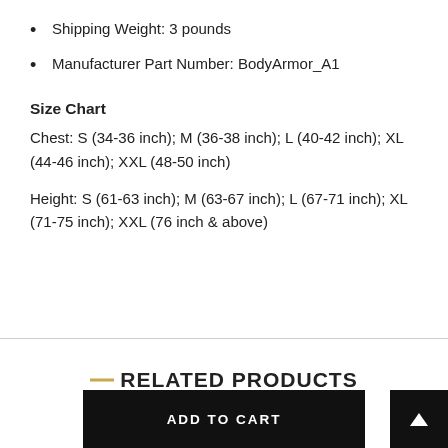Shipping Weight: 3 pounds
Manufacturer Part Number: BodyArmor_A1
Size Chart
Chest: S (34-36 inch); M (36-38 inch);  L (40-42 inch); XL (44-46 inch); XXL (48-50 inch)
Height: S (61-63 inch); M (63-67 inch);  L (67-71 inch); XL (71-75 inch); XXL (76 inch & above)
RELATED PRODUCTS
ADD TO CART